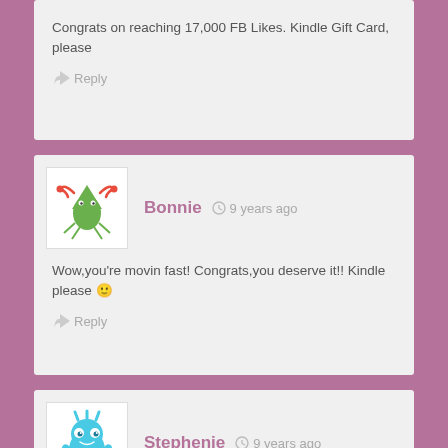Congrats on reaching 17,000 FB Likes. Kindle Gift Card, please
Reply
Bonnie  9 years ago
Wow,you're movin fast! Congrats,you deserve it!! Kindle please 🙂
Reply
Stephenie  9 years ago
Congratulations!! Love your blog! Kindle, please.